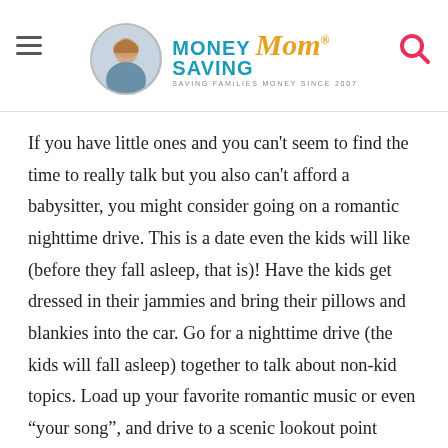Money Saving Mom® — SAVING FAMILIES MONEY SINCE 2007
If you have little ones and you can't seem to find the time to really talk but you also can't afford a babysitter, you might consider going on a romantic nighttime drive. This is a date even the kids will like (before they fall asleep, that is)! Have the kids get dressed in their jammies and bring their pillows and blankies into the car. Go for a nighttime drive (the kids will fall asleep) together to talk about non-kid topics. Load up your favorite romantic music or even "your song", and drive to a scenic lookout point where you can see the city and stare out at the stars together.
You don't need to have a special occasion to make plans